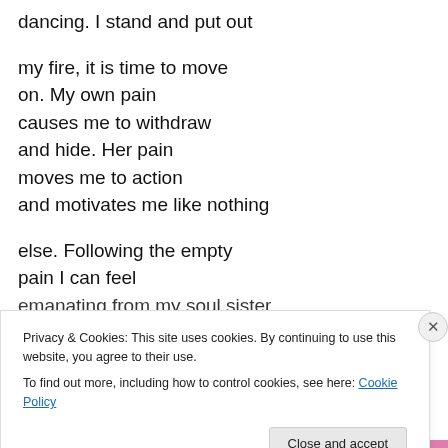dancing.  I stand and put out

my fire, it is time to move
on.  My own pain
causes me to withdraw
and hide.  Her pain
moves me to action
and motivates me like nothing

else.  Following the empty
pain I can feel
emanating from my soul sister
Privacy & Cookies: This site uses cookies. By continuing to use this website, you agree to their use.
To find out more, including how to control cookies, see here: Cookie Policy
Close and accept